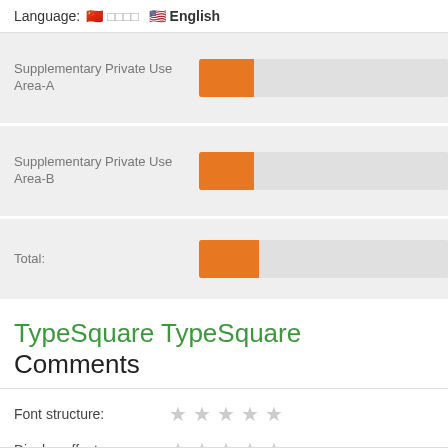Language: 🇨🇳 □□□□  🇺🇸 English
[Figure (bar-chart): Supplementary Private Use Area-A]
[Figure (bar-chart): Supplementary Private Use Area-B]
[Figure (bar-chart): Total:]
TypeSquare TypeSquare Comments
Font structure: ☆ ☆ ☆ ☆ ☆
Display effect: ☆ ☆ ☆ ☆ ☆
Style number: ☆ ☆ ☆ ☆ ☆
Character number: ☆ ☆ ☆ ☆ ☆